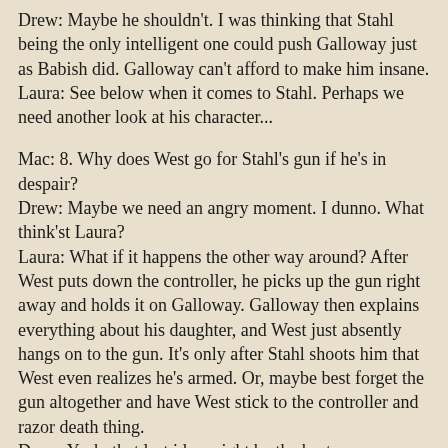Drew: Maybe he shouldn't. I was thinking that Stahl being the only intelligent one could push Galloway just as Babish did. Galloway can't afford to make him insane.
Laura: See below when it comes to Stahl. Perhaps we need another look at his character...
Mac: 8. Why does West go for Stahl's gun if he's in despair?
Drew: Maybe we need an angry moment. I dunno. What think'st Laura?
Laura: What if it happens the other way around? After West puts down the controller, he picks up the gun right away and holds it on Galloway. Galloway then explains everything about his daughter, and West just absently hangs on to the gun. It's only after Stahl shoots him that West even realizes he's armed. Or, maybe best forget the gun altogether and have West stick to the controller and razor death thing.
Drew: Yeah, that last idea might be the best.
Mac: 9. If the mutants are just people, why do they eat Babish and Cub?
Drew: Babish and Cub kill themselves just as Stahl does. But we don't realize it 'till the movie is over. We might need